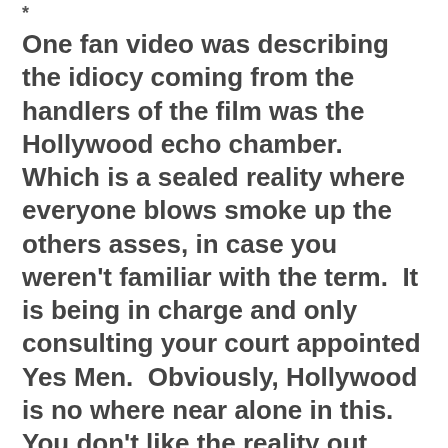*
One fan video was describing the idiocy coming from the handlers of the film was the Hollywood echo chamber.  Which is a sealed reality where everyone blows smoke up the others asses, in case you weren't familiar with the term.  It is being in charge and only consulting your court appointed Yes Men.  Obviously, Hollywood is no where near alone in this.  You don't like the reality out there so you retreat to your Happy Place and tell yourself lies until your ravaged soul is soothed.  I mean, it wouldn't really behoove a Master Gold Investment Advisor to know that Peak Gold has